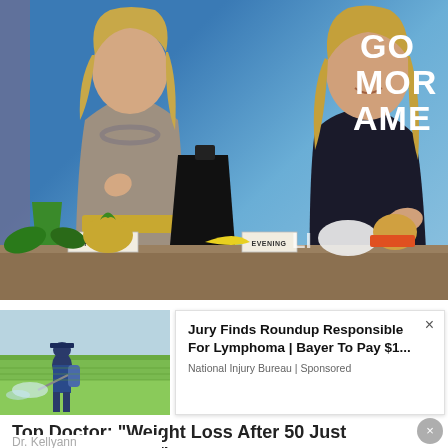[Figure (screenshot): Screenshot of a TV morning show (Good Morning America) with two women at a table displaying food items labeled AFTERNOON and EVENING. Blue GMA logo visible in background.]
[Figure (photo): Small advertisement thumbnail showing a person spraying pesticide/herbicide on a green field.]
Jury Finds Roundup Responsible For Lymphoma | Bayer To Pay $1...
National Injury Bureau | Sponsored
Top Doctor: "Weight Loss After 50 Just Changed Forever"
Dr. Kellyann